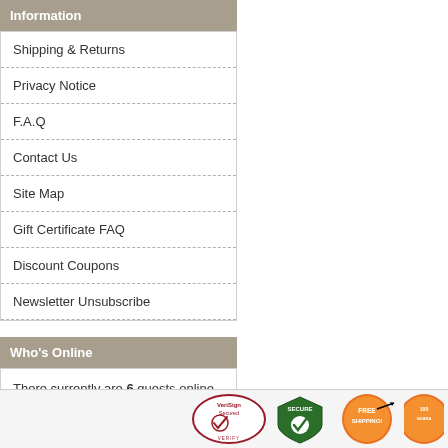Information
Shipping & Returns
Privacy Notice
F.A.Q
Contact Us
Site Map
Gift Certificate FAQ
Discount Coupons
Newsletter Unsubscribe
Who's Online
There currently are 6 guests online.
[Figure (infographic): Trust badges row: VeriSign Secured VERIFY, SECURE shield with checkmark, FREE SHIPPING with airplane, SATISFACTION GUARANTEE (partially visible)]